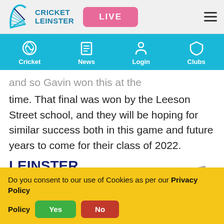Cricket Leinster | LIVE
...and so Gavin won this at the time. That final was won by the Leeson Street school, and they will be hoping for similar success both in this game and future years to come for their class of 2022.
[Figure (screenshot): Leinster Cricket Senior Cup Final 2022 promotional image with decorative elements]
Do you consent to our use of Cookies as per our Privacy Policy
Yes / No